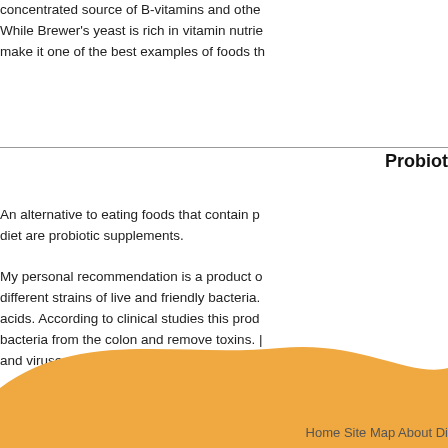concentrated source of B-vitamins and othe... While Brewer's yeast is rich in vitamin nutrie... make it one of the best examples of foods th...
Probiot...
An alternative to eating foods that contain p... diet are probiotic supplements.
My personal recommendation is a product o... different strains of live and friendly bacteria. acids. According to clinical studies this prod... bacteria from the colon and remove toxins. ... and viruses.
Go From Foods that Contain P...
Go From Foods That Contain Probiotics to ...
Home   Site Map   About   Di...